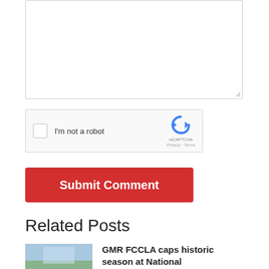[Figure (screenshot): Empty textarea / comment input box with resize handle in bottom-right corner]
[Figure (screenshot): reCAPTCHA widget with checkbox labeled 'I'm not a robot' and reCAPTCHA logo with Privacy and Terms links]
Submit Comment
Related Posts
GMR FCCLA caps historic season at National Conference